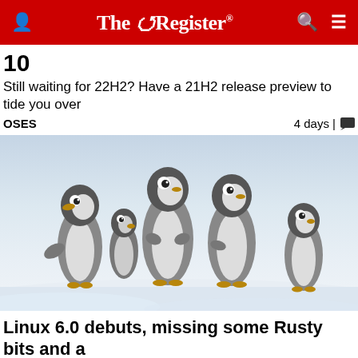The Register
10
Still waiting for 22H2? Have a 21H2 release preview to tide you over
OSES   4 days |
[Figure (photo): A group of emperor penguin chicks standing in snow, black and white photograph, several chicks facing forward and to the sides]
Linux 6.0 debuts, missing some Rusty bits and a